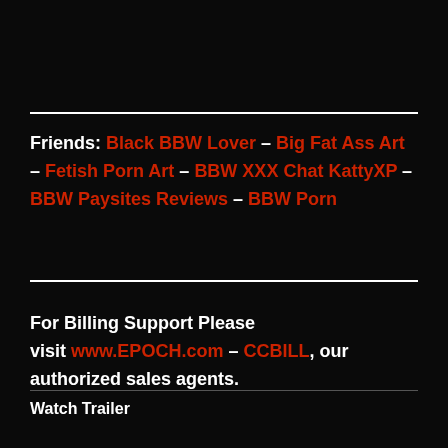Friends: Black BBW Lover - Big Fat Ass Art - Fetish Porn Art - BBW XXX Chat KattyXP - BBW Paysites Reviews - BBW Porn
For Billing Support Please visit www.EPOCH.com - CCBILL, our authorized sales agents.
Watch Trailer